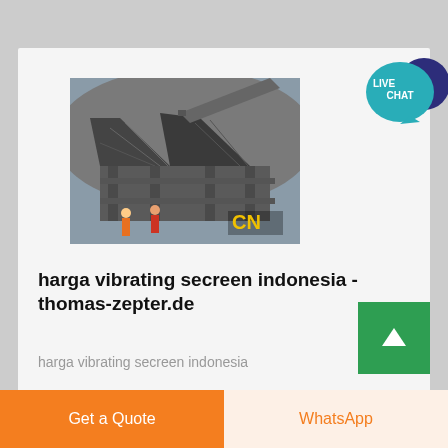[Figure (photo): Industrial mining vibrating screen equipment photo with 'CN' branding in yellow text, showing large metal screening structure with workers nearby in a quarry/mine setting]
harga vibrating secreen indonesia - thomas-zepter.de
harga vibrating secreen indonesia
Get a Quote
WhatsApp